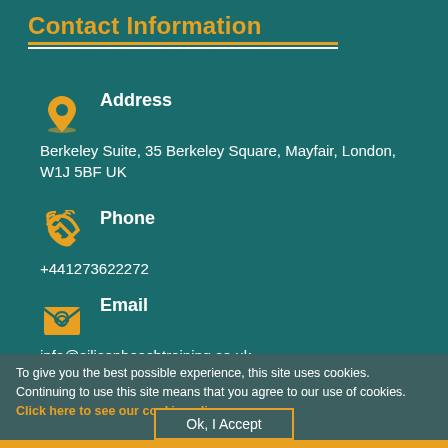Contact Information
Address
Berkeley Suite, 35 Berkeley Square, Mayfair, London, W1J 5BF UK
Phone
+441273622272
Email
info@siliconbeachtraining.co.uk
To give you the best possible experience, this site uses cookies. Continuing to use this site means that you agree to our use of cookies. Click here to see our cookie policy
Ok, I Accept